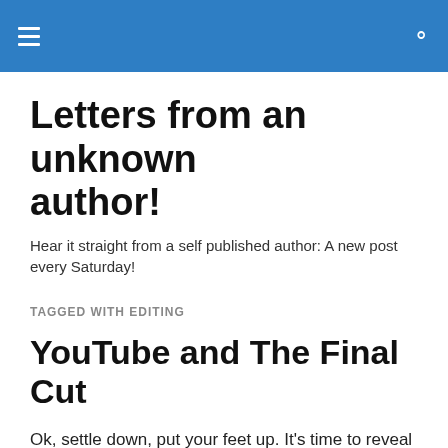Letters from an unknown author! [navigation bar with hamburger menu and search icon]
Letters from an unknown author!
Hear it straight from a self published author: A new post every Saturday!
TAGGED WITH EDITING
YouTube and The Final Cut
Ok, settle down, put your feet up. It's time to reveal a great new slice of visual entertainment that has finally been released. Yes we know, I can hear you say, the new Bond film!  Bond film? No no, no. Forget about the Bond film, I'm talking about some serious movie making, my latest